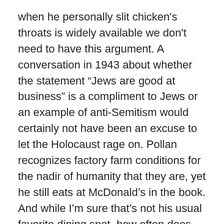when he personally slit chicken's throats is widely available we don't need to have this argument. A conversation in 1943 about whether the statement “Jews are good at business” is a compliment to Jews or an example of anti-Semitism would certainly not have been an excuse to let the Holocaust rage on. Pollan recognizes factory farm conditions for the nadir of humanity that they are, yet he still eats at McDonald's in the book. And while I'm sure that's not his usual favorite dining spot, how often does he know the providence of the eggs used in the gourmet items I'm sure he consumes at fine restaurants on a regular basis. Same for the items he makes or consumes when he's home.
I've no doubt someone like him, a foodie, especially one with an open eye to factory farm conditions, goes out of his way when he can to buy from small farms where he